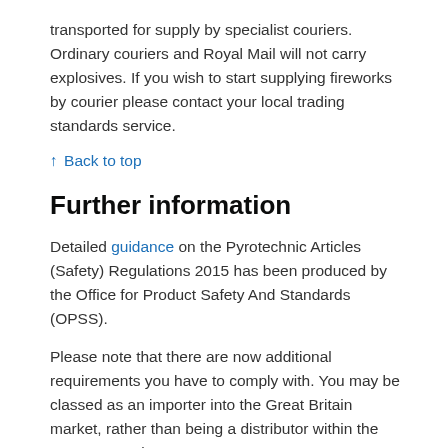transported for supply by specialist couriers. Ordinary couriers and Royal Mail will not carry explosives. If you wish to start supplying fireworks by courier please contact your local trading standards service.
↑ Back to top
Further information
Detailed guidance on the Pyrotechnic Articles (Safety) Regulations 2015 has been produced by the Office for Product Safety And Standards (OPSS).
Please note that there are now additional requirements you have to comply with. You may be classed as an importer into the Great Britain market, rather than being a distributor within the European Union.